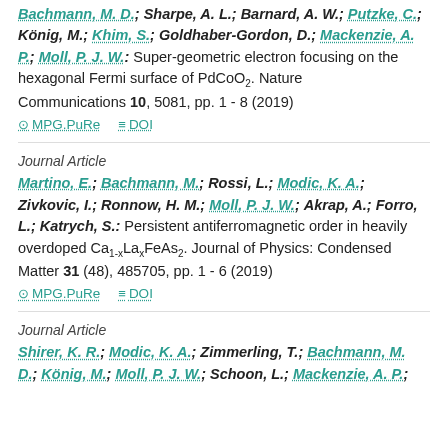Bachmann, M. D.; Sharpe, A. L.; Barnard, A. W.; Putzke, C.; König, M.; Khim, S.; Goldhaber-Gordon, D.; Mackenzie, A. P.; Moll, P. J. W.: Super-geometric electron focusing on the hexagonal Fermi surface of PdCoO2. Nature Communications 10, 5081, pp. 1 - 8 (2019)
MPG.PuRe   DOI
Journal Article
Martino, E.; Bachmann, M.; Rossi, L.; Modic, K. A.; Zivkovic, I.; Ronnow, H. M.; Moll, P. J. W.; Akrap, A.; Forro, L.; Katrych, S.: Persistent antiferromagnetic order in heavily overdoped Ca1-xLaxFeAs2. Journal of Physics: Condensed Matter 31 (48), 485705, pp. 1 - 6 (2019)
MPG.PuRe   DOI
Journal Article
Shirer, K. R.; Modic, K. A.; Zimmerling, T.; Bachmann, M. D.; König, M.; Moll, P. J. W.; Schoop, L.; Mackenzie, A. P.: